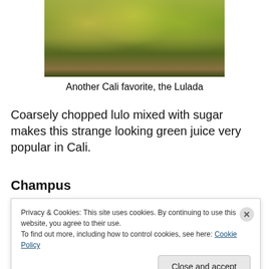[Figure (photo): Three glasses filled with green lulada drink, a yellowish-green juice with fruit pieces, placed on a dark surface]
Another Cali favorite, the Lulada
Coarsely chopped lulo mixed with sugar makes this strange looking green juice very popular in Cali.
Champus
[Figure (photo): A bowl of champus, a warm Colombian drink with corn and fruit pieces]
Privacy & Cookies: This site uses cookies. By continuing to use this website, you agree to their use.
To find out more, including how to control cookies, see here: Cookie Policy